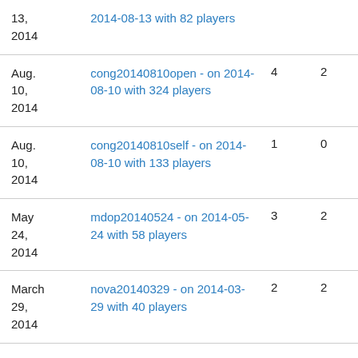| 13,
2014 | 2014-08-13 with 82 players |  |  |
| Aug.
10,
2014 | cong20140810open - on 2014-08-10 with 324 players | 4 | 2 |
| Aug.
10,
2014 | cong20140810self - on 2014-08-10 with 133 players | 1 | 0 |
| May
24,
2014 | mdop20140524 - on 2014-05-24 with 58 players | 3 | 2 |
| March
29,
2014 | nova20140329 - on 2014-03-29 with 40 players | 2 | 2 |